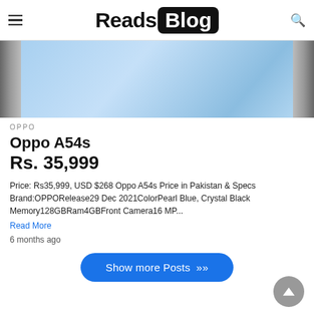Reads Blog
[Figure (photo): Partial view of a smartphone (Oppo A54s) against a light blue gradient background, showing the device's edge and screen.]
OPPO
Oppo A54s
Rs. 35,999
Price: Rs35,999, USD $268 Oppo A54s Price in Pakistan & Specs Brand:OPPORelease29 Dec 2021ColorPearl Blue, Crystal Black  Memory128GBRam4GBFront Camera16 MP...
Read More
6 months ago